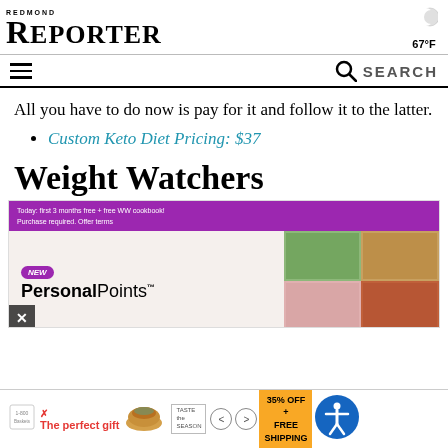REDMOND REPORTER — 67°F
All you have to do now is pay for it and follow it to the latter.
Custom Keto Diet Pricing: $37
Weight Watchers
[Figure (screenshot): Weight Watchers promotional banner showing purple header with 'Today: first 3 months free + free WW cookbook! Purchase required. Offer terms', and below a beige background with 'NEW' badge and 'PersonalPoints' branding alongside food images]
[Figure (screenshot): Bottom advertisement bar showing 'The perfect gift' text with food imagery, navigation arrows, and '35% OFF + FREE SHIPPING' discount badge, plus accessibility icon]